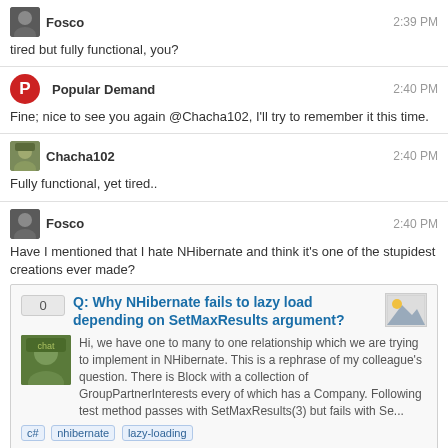Fosco — 2:39 PM — tired but fully functional, you?
Popular Demand — 2:40 PM — Fine; nice to see you again @Chacha102, I'll try to remember it this time.
Chacha102 — 2:40 PM — Fully functional, yet tired..
Fosco — 2:40 PM — Have I mentioned that I hate NHibernate and think it's one of the stupidest creations ever made?
[Figure (screenshot): Embedded Stack Overflow question card: vote score 0, Q: Why NHibernate fails to lazy load depending on SetMaxResults argument? Tags: c#, nhibernate, lazy-loading]
Chacha102 — 2:40 PM — Have I mentioned that Trade Chat makes baby jesus cry?
Fosco — 2:41 PM — Something so easy in SQL can be made so convoluted and unreliable...